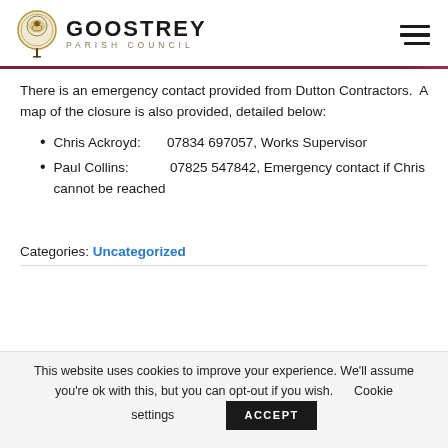GOOSTREY PARISH COUNCIL
There is an emergency contact provided from Dutton Contractors. A map of the closure is also provided, detailed below:
Chris Ackroyd:        07834 697057, Works Supervisor
Paul Collins:            07825 547842, Emergency contact if Chris cannot be reached
Categories: Uncategorized
This website uses cookies to improve your experience. We'll assume you're ok with this, but you can opt-out if you wish.      Cookie settings   ACCEPT